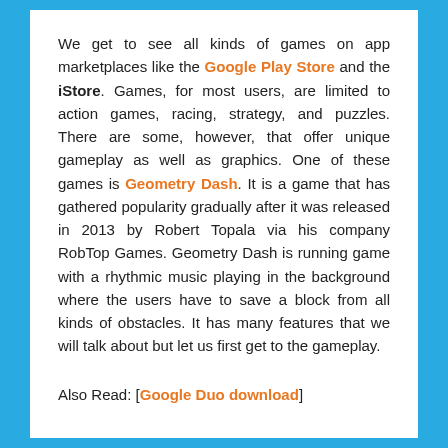We get to see all kinds of games on app marketplaces like the Google Play Store and the iStore. Games, for most users, are limited to action games, racing, strategy, and puzzles. There are some, however, that offer unique gameplay as well as graphics. One of these games is Geometry Dash. It is a game that has gathered popularity gradually after it was released in 2013 by Robert Topala via his company RobTop Games. Geometry Dash is running game with a rhythmic music playing in the background where the users have to save a block from all kinds of obstacles. It has many features that we will talk about but let us first get to the gameplay.
Also Read: [Google Duo download]